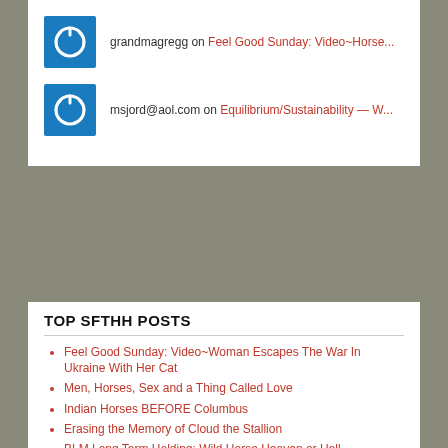grandmagregg on Feel Good Sunday: Video~Horse...
msjord@aol.com on Equilibrium/Sustainability — W...
TOP SFTHH POSTS
Feel Good Sunday: Video~Woman Escapes The War In Ukraine With Her Cat
Men, Horses, Sex and a Thing Called Love
Indian Horses BEFORE Columbus
Erasing the Memory of Cloud the Stallion
BLM Long Term Holding: Wild Horse Heaven or Hell
THY CROSS I'LL CARRY: The legend of the Jerusalem Donkey
Jesica Johnston's great comments to BLM on their 10 year plan to round up wild horses & burros in the Twin Peaks HMA
BLM's Wild Horse Stampede Contractor Exposed as Deceptive
Multi-Millionaire Cowpoke Ladd Drummond, whose little...